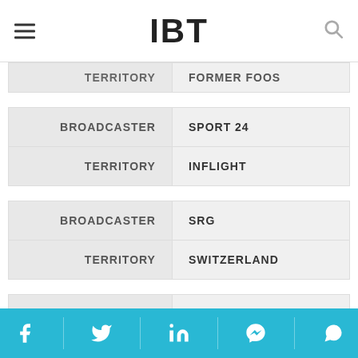IBT
| TERRITORY | FORMER FOOS |
| --- | --- |
| BROADCASTER | TERRITORY |
| --- | --- |
| BROADCASTER | SPORT 24 |
| TERRITORY | INFLIGHT |
| BROADCASTER | TERRITORY |
| --- | --- |
| BROADCASTER | SRG |
| TERRITORY | SWITZERLAND |
| BROADCASTER | TERRITORY |
| --- | --- |
| BROADCASTER | STAR INDIA |
| TERRITORY | INDIA, BANGLADESH, BHUTAN, NEPAL, |
Facebook Twitter LinkedIn Messenger WhatsApp